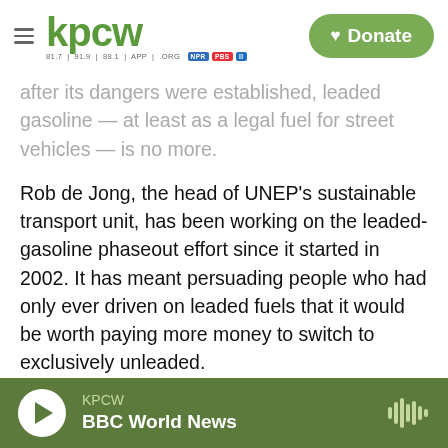KPCW | Donate
after its dangers were established, leaded gasoline — at least as a legal fuel for street vehicles — is no more.
Rob de Jong, the head of UNEP's sustainable transport unit, has been working on the leaded-gasoline phaseout effort since it started in 2002. It has meant persuading people who had only ever driven on leaded fuels that it would be worth paying more money to switch to exclusively unleaded.
He says the vast majority of the developing world embraced the phaseout within a decade. But a handful of countries were holdouts, particularly
KPCW | BBC World News